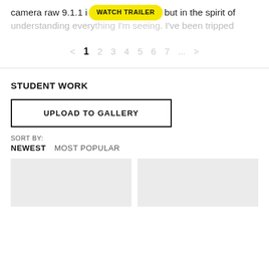camera raw 9.1.1 i do recommend it, but in the spirit of understanding everything I'm seeing. I've been tripped
[Figure (other): Yellow 'WATCH TRAILER' button overlay]
< 1 2 3 4 5 6 7 ... >
STUDENT WORK
UPLOAD TO GALLERY
SORT BY:
NEWEST  MOST POPULAR
[Figure (other): Two gray placeholder image thumbnails in gallery row]